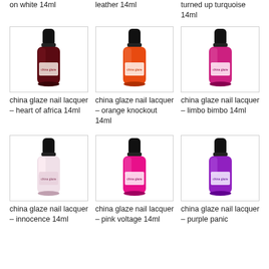on white 14ml
leather 14ml
turned up turquoise 14ml
[Figure (photo): China Glaze nail lacquer bottle – heart of africa (dark burgundy/red), 14ml]
china glaze nail lacquer – heart of africa 14ml
[Figure (photo): China Glaze nail lacquer bottle – orange knockout (bright orange), 14ml]
china glaze nail lacquer – orange knockout 14ml
[Figure (photo): China Glaze nail lacquer bottle – limbo bimbo (hot pink/magenta metallic), 14ml]
china glaze nail lacquer – limbo bimbo 14ml
[Figure (photo): China Glaze nail lacquer bottle – innocence (pale pink/white), 14ml]
china glaze nail lacquer – innocence 14ml
[Figure (photo): China Glaze nail lacquer bottle – pink voltage (bright hot pink), 14ml]
china glaze nail lacquer – pink voltage 14ml
[Figure (photo): China Glaze nail lacquer bottle – purple panic (bright purple), 14ml]
china glaze nail lacquer – purple panic